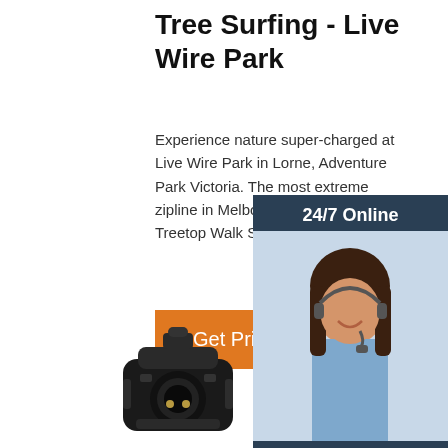Tree Surfing - Live Wire Park
Experience nature super-charged at Live Wire Park in Lorne, Adventure Park Victoria. The most extreme zipline in Melbourne. Tree Surfing Treetop Walk Super Circuit
Get Price
[Figure (photo): 24/7 online chat widget with photo of woman wearing headset, dark background, click here for free chat, QUOTATION button]
[Figure (photo): Black electrical connector/plug component, close-up product photo]